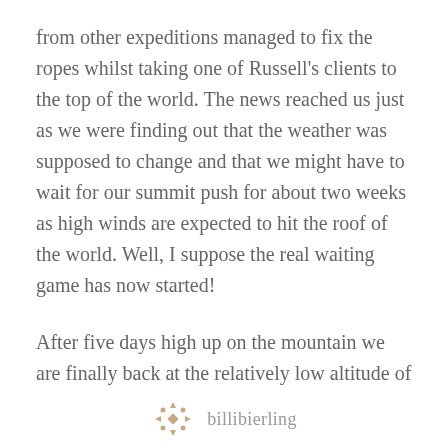from other expeditions managed to fix the ropes whilst taking one of Russell's clients to the top of the world. The news reached us just as we were finding out that the weather was supposed to change and that we might have to wait for our summit push for about two weeks as high winds are expected to hit the roof of the world. Well, I suppose the real waiting game has now started!
After five days high up on the mountain we are finally back at the relatively low altitude of our base camp. I apologise that I haven't been able to update my diary for about one week, however, spending time away from email and internet was
billibierling